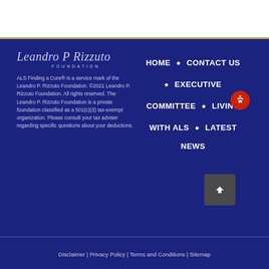[Figure (logo): Leandro P Rizzuto Foundation logo in script and uppercase lettering]
ALS Finding a Cure® is a service mark of the Leandro P. Rizzuto Foundation. ©2021 Leandro P. Rizzuto Foundation. All rights reserved. The Leandro P. Rizzuto Foundation is a private foundation classified as a 501(c)(3) tax-exempt organization. Please consult your tax adviser regarding specific questions about your deductions.
HOME
CONTACT US
EXECUTIVE COMMITTEE
LIVING WITH ALS
LATEST NEWS
Disclaimer | Privacy Policy | Terms and Conditions | Sitemap